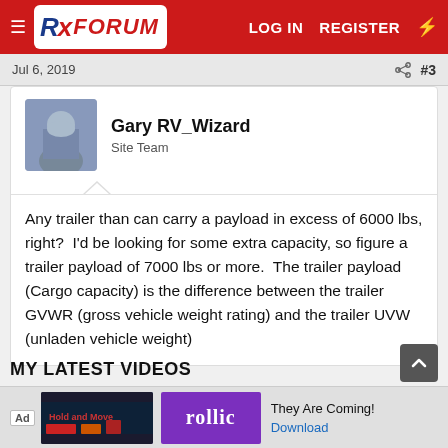RX FORUM  LOG IN  REGISTER
Jul 6, 2019  #3
Gary RV_Wizard
Site Team
Any trailer than can carry a payload in excess of 6000 lbs, right?  I'd be looking for some extra capacity, so figure a trailer payload of 7000 lbs or more.  The trailer payload (Cargo capacity) is the difference between the trailer GVWR (gross vehicle weight rating) and the trailer UVW (unladen vehicle weight)
MY LATEST VIDEOS
[Figure (screenshot): Advertisement banner: Rollic game ad with 'They Are Coming!' tagline and Download link]